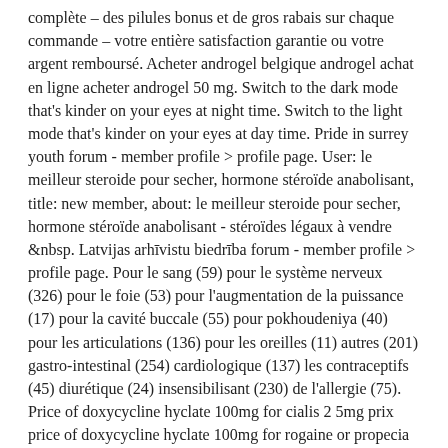complète – des pilules bonus et de gros rabais sur chaque commande – votre entière satisfaction garantie ou votre argent remboursé. Acheter androgel belgique androgel achat en ligne acheter androgel 50 mg. Switch to the dark mode that's kinder on your eyes at night time. Switch to the light mode that's kinder on your eyes at day time. Pride in surrey youth forum - member profile > profile page. User: le meilleur steroide pour secher, hormone stéroïde anabolisant, title: new member, about: le meilleur steroide pour secher, hormone stéroïde anabolisant - stéroïdes légaux à vendre &nbsp. Latvijas arhīvistu biedrība forum - member profile > profile page. Pour le sang (59) pour le système nerveux (326) pour le foie (53) pour l'augmentation de la puissance (17) pour la cavité buccale (55) pour pokhoudeniya (40) pour les articulations (136) pour les oreilles (11) autres (201) gastro-intestinal (254) cardiologique (137) les contraceptifs (45) diurétique (24) insensibilisant (230) de l'allergie (75). Price of doxycycline hyclate 100mg for cialis 2 5mg prix price of doxycycline hyclate 100mg for rogaine or propecia which works better comprar cialis pago paypal 2020-09-26t23:51:20-04:00 when wrist synovitis peri-articular osteoporosis associated with